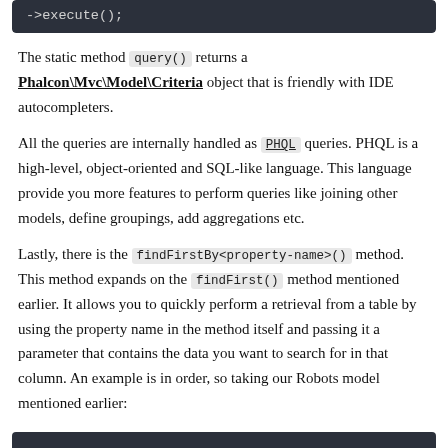[Figure (screenshot): Dark code block showing '->execute();']
The static method query() returns a Phalcon\Mvc\Model\Criteria object that is friendly with IDE autocompleters.
All the queries are internally handled as PHQL queries. PHQL is a high-level, object-oriented and SQL-like language. This language provide you more features to perform queries like joining other models, define groupings, add aggregations etc.
Lastly, there is the findFirstBy<property-name>() method. This method expands on the findFirst() method mentioned earlier. It allows you to quickly perform a retrieval from a table by using the property name in the method itself and passing it a parameter that contains the data you want to search for in that column. An example is in order, so taking our Robots model mentioned earlier:
[Figure (screenshot): Dark code block at the bottom of the page (partially visible)]